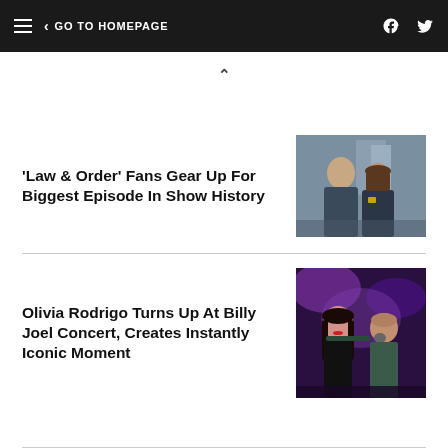GO TO HOMEPAGE
'Law & Order' Fans Gear Up For Biggest Episode In Show History
[Figure (photo): Two actors from Law & Order posed together outdoors, a bald man and a woman in a police uniform]
Olivia Rodrigo Turns Up At Billy Joel Concert, Creates Instantly Iconic Moment
[Figure (photo): Olivia Rodrigo and Billy Joel together on stage at a concert, purple stage lighting]